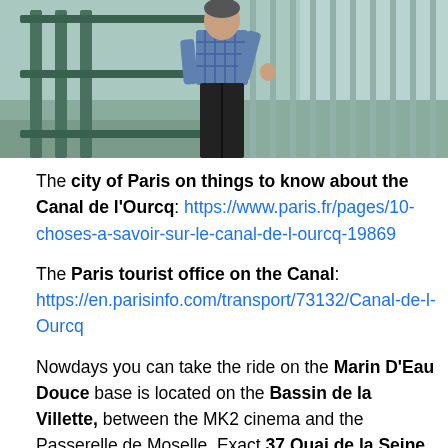[Figure (photo): Person standing on a bridge or walkway with green metal fence/railing, water visible in background, wearing blue checkered shirt and black pants.]
The city of Paris on things to know about the Canal de l'Ourcq: https://www.paris.fr/pages/10-choses-a-savoir-sur-le-canal-de-l-ourcq-19869
The Paris tourist office on the Canal: https://en.parisinfo.com/transport/73132/Canal-de-l-Ourcq
Nowdays you can take the ride on the Marin D'Eau Douce base is located on the Bassin de la Villette, between the MK2 cinema and the Passerelle de Moselle. Exact 37 Quai de la Seine. Their webpage on the canal de l'Ourcq trip: https://www.boating-paris-marindeaudouce.com/canal-de-l-ourcq/